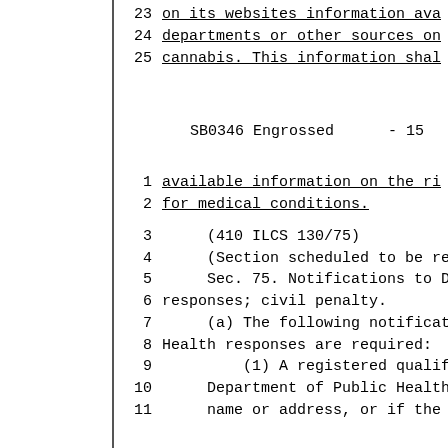23   on its websites information ava
24   departments or other sources on
25   cannabis. This information shal
SB0346 Engrossed     - 15
1    available information on the ri
2    for medical conditions.
3        (410 ILCS 130/75)
4        (Section scheduled to be re
5        Sec. 75. Notifications to D
6    responses; civil penalty.
7        (a) The following notificat
8    Health responses are required:
9            (1) A registered qualif
10       Department of Public Health
11       name or address, or if the